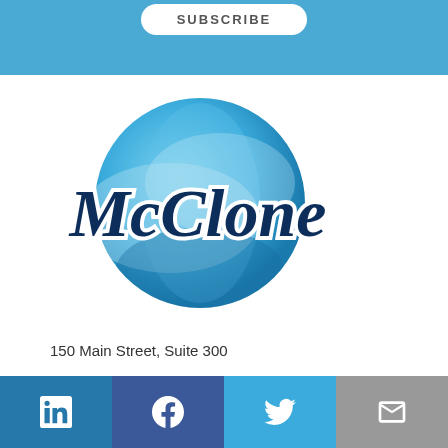SUBSCRIBE
[Figure (logo): McClone Insurance logo: blue circle globe with cursive McClone text in dark navy]
150 Main Street, Suite 300
Menasha, WI 54952
Call us: 800-236-1034
LinkedIn | Facebook | Twitter | Email